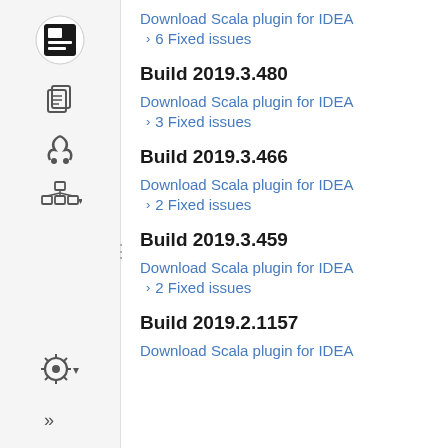[Figure (logo): JetBrains logo icon in sidebar]
[Figure (illustration): Copy/documents icon in sidebar]
[Figure (illustration): RSS feed icon in sidebar]
[Figure (illustration): Hierarchy/tree icon in sidebar]
[Figure (illustration): Settings gear icon in sidebar bottom]
[Figure (illustration): Double chevron >> icon in sidebar bottom]
Download Scala plugin for IDEA
6 Fixed issues
Build 2019.3.480
Download Scala plugin for IDEA
3 Fixed issues
Build 2019.3.466
Download Scala plugin for IDEA
2 Fixed issues
Build 2019.3.459
Download Scala plugin for IDEA
2 Fixed issues
Build 2019.2.1157
Download Scala plugin for IDEA